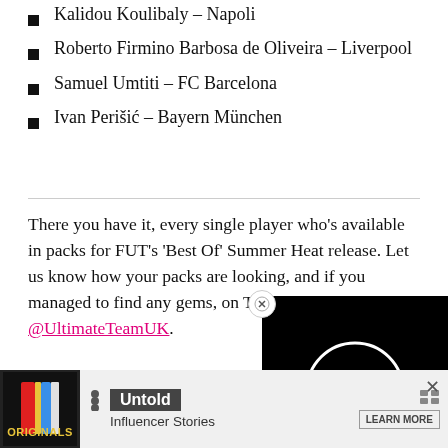Kalidou Koulibaly – Napoli
Roberto Firmino Barbosa de Oliveira – Liverpool
Samuel Umtiti – FC Barcelona
Ivan Perišić – Bayern München
There you have it, every single player who's available in packs for FUT's 'Best Of' Summer Heat release. Let us know how your packs are looking, and if you managed to find any gems, on Twitter @UltimateTeamUK.
Article continue…
[Figure (screenshot): Video player overlay with black background and white loading circle, with close button]
[Figure (screenshot): Advertisement banner: Originals logo, Untold Influencer Stories, Learn More button]